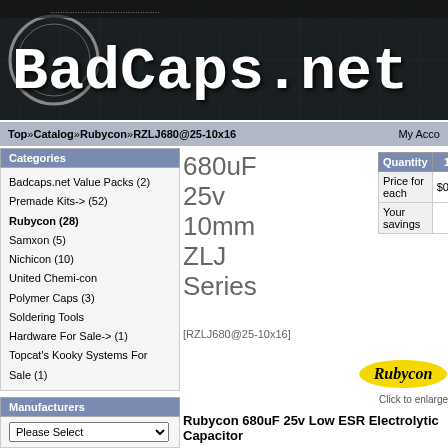[Figure (screenshot): BadCaps.net website header banner with logo text in gothic/monospace font on dark background with circuit board texture]
Top » Catalog » Rubycon » RZLJ680@25-10x16    My Acco
Categories
Badcaps.net Value Packs (2)
Premade Kits-> (52)
Rubycon (28)
Samxon (5)
Nichicon (10)
United Chemi-con
Polymer Caps (3)
Soldering Tools
Hardware For Sale-> (1)
Topcat's Kooky Systems For Sale (1)
Manufacturers
What's New?
680uF 25v 10mm ZLJ Series
[RZLJ680@25-10x16]
| Quantity | 1+ | 10+ | 20+ | 50+ | 1 |
| --- | --- | --- | --- | --- | --- |
| Price for each | $0.63 | $0.61 | $0.59 | $0.57 | $ |
| Your savings | - | 3% | 6% | 10% | 1 |
[Figure (logo): Rubycon logo in yellow oval with italic bold text]
Click to enlarge
Rubycon 680uF 25v Low ESR Electrolytic Capacitor
| Capacitance | Voltage | Series | Diameter | Height |
| --- | --- | --- | --- | --- |
| 680uF | 25v | ZLJ | 10mm | 16mm |
Standard shipping is $6.00 Shipping to a US
[Figure (logo): Rubycon logo in yellow oval in What's New sidebar]
330uF 35v 10mm ZLH Series
$0.66